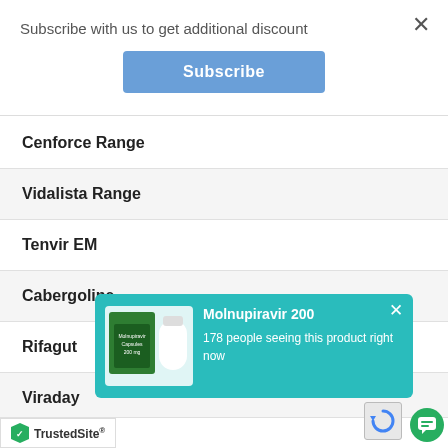Subscribe with us to get additional discount
Subscribe
Cenforce Range
Vidalista Range
Tenvir EM
Cabergoline
Rifagut
Viraday
Ka...
Va...
[Figure (screenshot): Notification popup for Molnupiravir 200 with product image (green box and white bottle of Molnupiravir Capsules 200 mg) and text '178 people seeing this product right now' on teal background]
[Figure (logo): TrustedSite badge at bottom left]